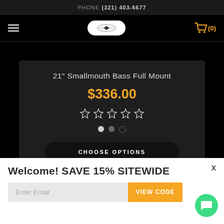PHONE (321) 403-6677
[Figure (screenshot): Navigation bar with hamburger menu, fish logo badge, and shopping cart icon with (0) count]
21" Smallmouth Bass Full Mount
$336.00
[Figure (other): 5 empty star rating icons]
[Figure (other): 3 image indicator dots]
CHOOSE OPTIONS
Welcome! SAVE 15% SITEWIDE
Enter Email
VIEW CODE